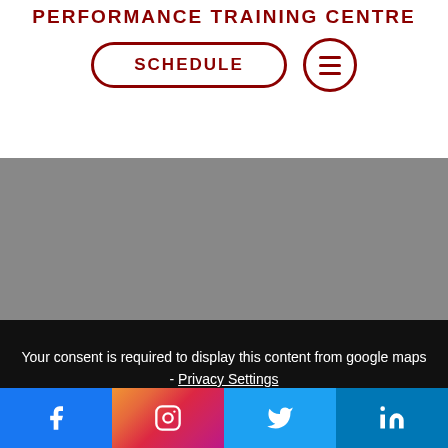PERFORMANCE TRAINING CENTRE
[Figure (other): SCHEDULE button with pill/rounded border, and hamburger menu button with circular border, both in dark red]
[Figure (other): Gray placeholder area representing a Google Maps embed]
Your consent is required to display this content from google maps - Privacy Settings
[Figure (other): reCAPTCHA icon partially visible in bottom right corner]
[Figure (other): Social media footer bar with Facebook, Instagram, Twitter, and LinkedIn icons]